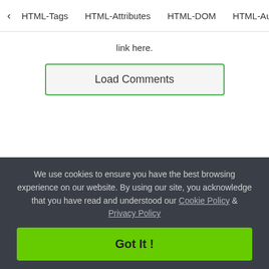< HTML-Tags   HTML-Attributes   HTML-DOM   HTML-Aud>
link here.
Load Comments
We use cookies to ensure you have the best browsing experience on our website. By using our site, you acknowledge that you have read and understood our Cookie Policy & Privacy Policy
Got It !